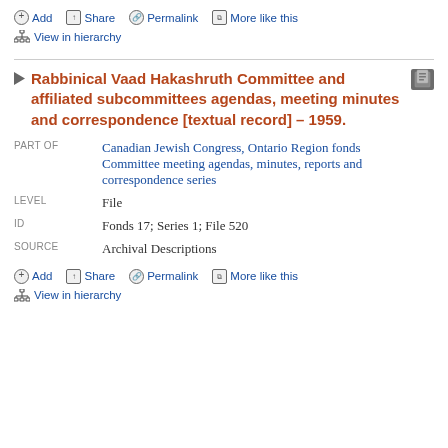Add  Share  Permalink  More like this  View in hierarchy
Rabbinical Vaad Hakashruth Committee and affiliated subcommittees agendas, meeting minutes and correspondence [textual record] – 1959.
| Field | Value |
| --- | --- |
| PART OF | Canadian Jewish Congress, Ontario Region fonds
Committee meeting agendas, minutes, reports and correspondence series |
| LEVEL | File |
| ID | Fonds 17; Series 1; File 520 |
| SOURCE | Archival Descriptions |
Add  Share  Permalink  More like this  View in hierarchy